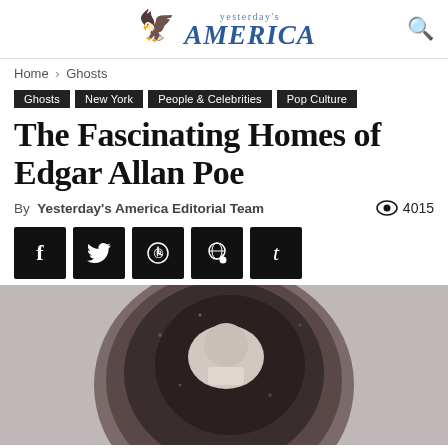Yesterday's America
Home › Ghosts
Ghosts
New York
People & Celebrities
Pop Culture
The Fascinating Homes of Edgar Allan Poe
By Yesterday's America Editorial Team · 4015 views
[Figure (other): Black and white circular vignette photograph of Edgar Allan Poe]
[Figure (infographic): Social share buttons: Facebook, Twitter, Pinterest, Reddit, Tumblr]